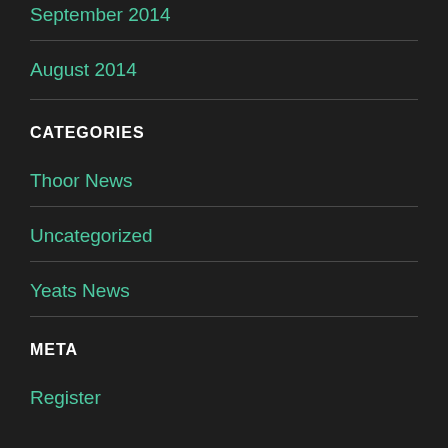September 2014
August 2014
CATEGORIES
Thoor News
Uncategorized
Yeats News
META
Register